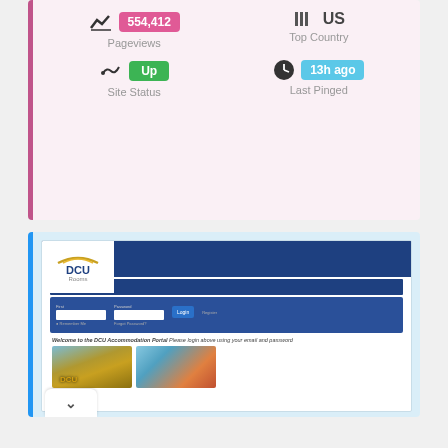[Figure (screenshot): Website stats card showing Pageviews: 554,412, Top Country: US, Site Status: Up, Last Pinged: 13h ago]
[Figure (screenshot): Screenshot of DCU Rooms accommodation portal website with logo, navigation, login form, and two images]